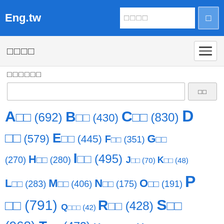Eng.tw
□□□□
□□□□□□
A□□ (692) B□□ (430) C□□ (830) D□□ (579) E□□ (445) F□□ (351) G□□ (270) H□□ (280) I□□ (495) J□□ (70) K□□ (48) L□□ (283) M□□ (406) N□□ (175) O□□ (191) P□□ (791) Q□□ (42) R□□ (428) S□□ (968) T□□ (472) U□□ (187) V□□ (155) W□□ (154) X□□ (10) Y□□ (19) Z□□ (14)
what □□